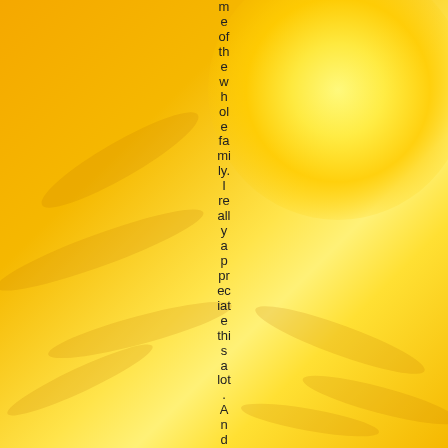[Figure (photo): Warm golden-yellow background with sunburst/glow effect in upper right corner and faint leaf/plant silhouettes. Vertical strip of text running down the center of the image reading: me of the whole family. I really appreciate this a lot. And]
me of the whole family. I really appreciate this a lot. And